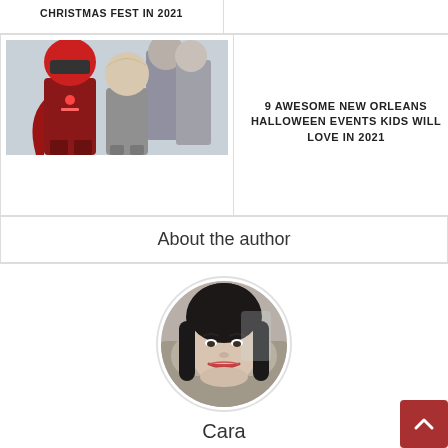CHRISTMAS FEST IN 2021
[Figure (photo): Two children in Halloween costumes, one in red superhero outfit with helmet, one in grey costume]
9 AWESOME NEW ORLEANS HALLOWEEN EVENTS KIDS WILL LOVE IN 2021
About the author
[Figure (photo): Circular portrait photo of Cara, a woman with dark hair]
Cara